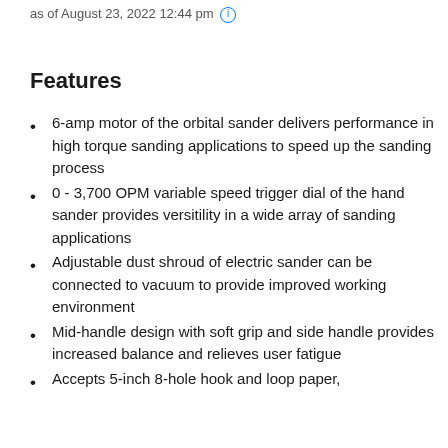as of August 23, 2022 12:44 pm (i)
Features
6-amp motor of the orbital sander delivers performance in high torque sanding applications to speed up the sanding process
0 - 3,700 OPM variable speed trigger dial of the hand sander provides versitility in a wide array of sanding applications
Adjustable dust shroud of electric sander can be connected to vacuum to provide improved working environment
Mid-handle design with soft grip and side handle provides increased balance and relieves user fatigue
Accepts 5-inch 8-hole hook and loop paper,